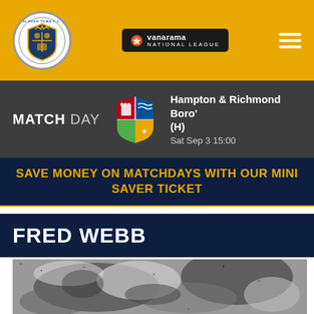Slough Town F.C. - Vanarama National League
MATCH DAY Hampton & Richmond Boro' (H) Sat Sep 3 15:00
SAVE MONEY ON MATCHDAYS WITH OUR MINI SAVER TICKET
FRED WEBB
[Figure (photo): Black and white grainy photograph of Fred Webb, a football player]